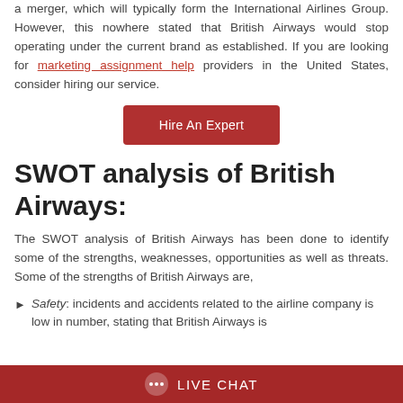a merger, which will typically form the International Airlines Group. However, this nowhere stated that British Airways would stop operating under the current brand as established. If you are looking for marketing assignment help providers in the United States, consider hiring our service.
[Figure (other): Red button labeled 'Hire An Expert']
SWOT analysis of British Airways:
The SWOT analysis of British Airways has been done to identify some of the strengths, weaknesses, opportunities as well as threats. Some of the strengths of British Airways are,
Safety: incidents and accidents related to the airline company is low in number, stating that British Airways is
LIVE CHAT